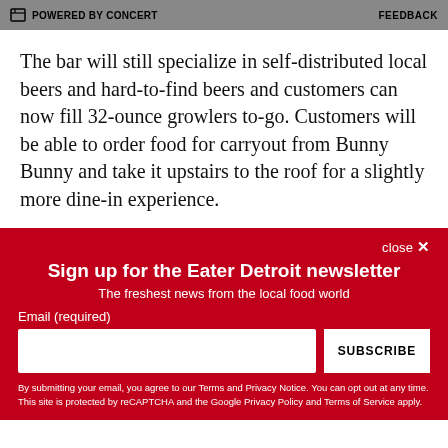POWERED BY CONCERT   FEEDBACK
The bar will still specialize in self-distributed local beers and hard-to-find beers and customers can now fill 32-ounce growlers to-go. Customers will be able to order food for carryout from Bunny Bunny and take it upstairs to the roof for a slightly more dine-in experience.
Sign up for the Eater Detroit newsletter
The freshest news from the local food world
Email (required)
SUBSCRIBE
By submitting your email, you agree to our Terms and Privacy Notice. You can opt out at any time. This site is protected by reCAPTCHA and the Google Privacy Policy and Terms of Service apply.